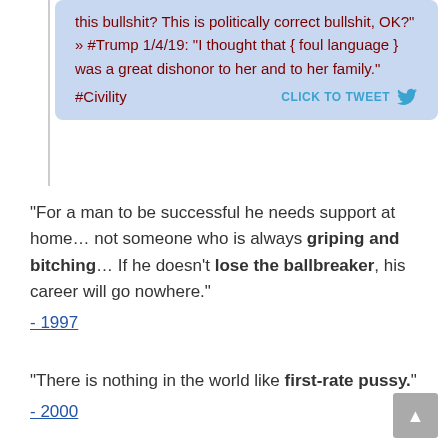[Figure (screenshot): Tweet-style quote box with light blue background. Text in dark red: 'this bullshit? This is politically correct bullshit, OK?" » #Trump 1/4/19: "I thought that { foul language } was a great dishonor to her and to her family." #Civility'. With CLICK TO TWEET button and Twitter bird icon.]
“For a man to be successful he needs support at home… not someone who is always griping and bitching… If he doesn’t lose the ballbreaker, his career will go nowhere.”
- 1997
“There is nothing in the world like first-rate pussy.”
- 2000